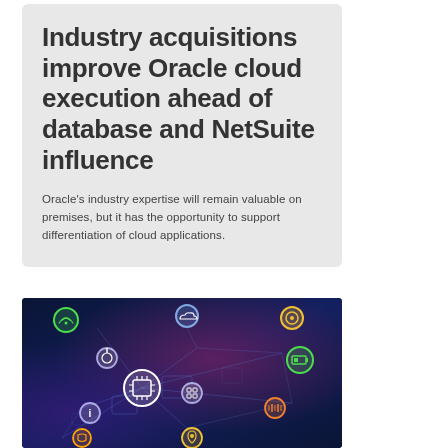Industry acquisitions improve Oracle cloud execution ahead of database and NetSuite influence
Oracle's industry expertise will remain valuable on premises, but it has the opportunity to support differentiation of cloud applications.
[Figure (photo): Technology/IoT network diagram photo showing interconnected circuit board with glowing icon nodes on dark blue and purple background, representing cloud/IoT connectivity]